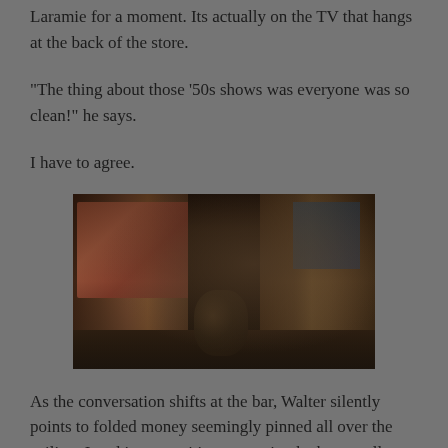Laramie for a moment. Its actually on the TV that hangs at the back of the store.
“The thing about those ’50s shows was everyone was so clean!” he says.
I have to agree.
[Figure (photo): Interior of a dimly lit store or bar showing shelves stocked with merchandise, a dark wood stove or barrel-shaped object in the center foreground, a TV or screen visible on the left with colorful imagery, and shelving units on the right side. The scene is dark and atmospheric.]
As the conversation shifts at the bar, Walter silently points to folded money seemingly pinned all over the ceiling. I nod in recognition, assuming he knows all about